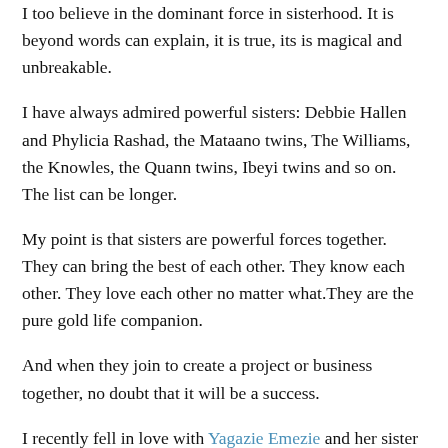I too believe in the dominant force in sisterhood. It is beyond words can explain, it is true, its is magical and unbreakable.
I have always admired powerful sisters: Debbie Hallen and Phylicia Rashad, the Mataano twins, The Williams, the Knowles, the Quann twins, Ibeyi twins and so on. The list can be longer.
My point is that sisters are powerful forces together. They can bring the best of each other. They know each other. They love each other no matter what.They are the pure gold life companion.
And when they join to create a project or business together, no doubt that it will be a success.
I recently fell in love with Yagazie Emezie and her sister Akwaeke. Their Instagram is pure sisterhood goal: laugh, creativity, entrepreneurship, friendship, and love all the way. Plus, their Indian and African mix remind me of my